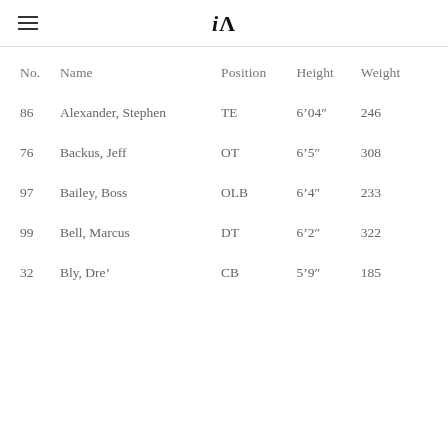iA
| No. | Name | Position | Height | Weight |
| --- | --- | --- | --- | --- |
| 86 | Alexander, Stephen | TE | 6’04″ | 246 |
| 76 | Backus, Jeff | OT | 6’5″ | 308 |
| 97 | Bailey, Boss | OLB | 6’4″ | 233 |
| 99 | Bell, Marcus | DT | 6’2″ | 322 |
| 32 | Bly, Dre’ | CB | 5’9″ | 185 |